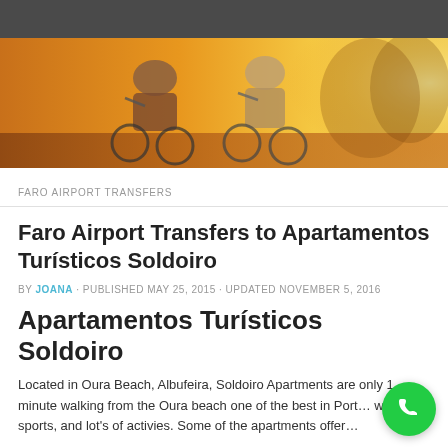[Figure (photo): Two people riding bicycles in warm golden sunlight with glowing orange background]
FARO AIRPORT TRANSFERS
Faro Airport Transfers to Apartamentos Turísticos Soldoiro
BY JOANA · PUBLISHED MAY 25, 2015 · UPDATED NOVEMBER 5, 2016
Apartamentos Turísticos Soldoiro
Located in Oura Beach, Albufeira, Soldoiro Apartments are only 1 minute walking from the Oura beach one of the best in Portugal. water sports, and lot's of activies. Some of the apartments offer…